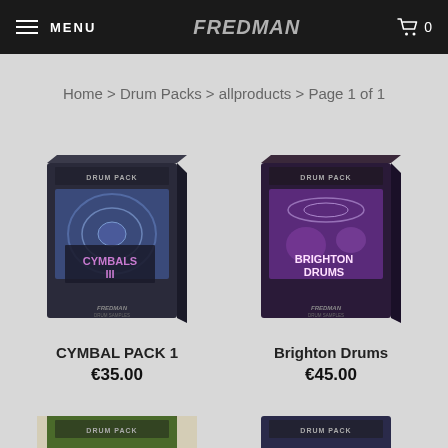MENU | FREDMAN | 0
Home > Drum Packs > allproducts > Page 1 of 1
[Figure (photo): Product box for Cymbal Pack 1 - dark box with blue cymbal imagery and text 'CYMBALS III' and 'FREDMAN']
CYMBAL PACK 1
€35.00
[Figure (photo): Product box for Brighton Drums - dark box with purple drum imagery and text 'BRIGHTON DRUMS' and 'FREDMAN']
Brighton Drums
€45.00
[Figure (photo): Partial product box at bottom left - partially visible drum pack]
[Figure (photo): Partial product box at bottom right - partially visible drum pack]